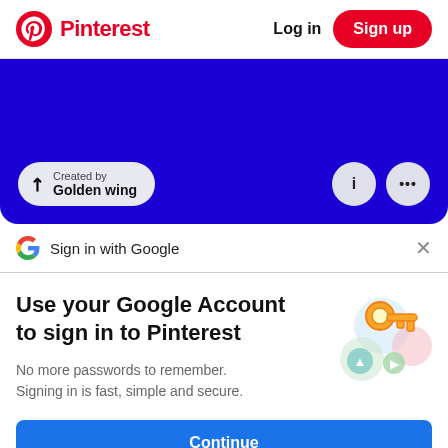Pinterest | Log in | Sign up
[Figure (screenshot): Blue banner with 'Created by Golden wing' badge and icon buttons]
Sign in with Google
Use your Google Account to sign in to Pinterest
No more passwords to remember. Signing in is fast, simple and secure.
Continue